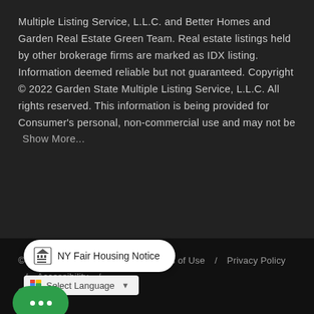Multiple Listing Service, L.L.C. and Better Homes and Garden Real Estate Green Team. Real estate listings held by other brokerage firms are marked as IDX listing. Information deemed reliable but not guaranteed. Copyright © 2022 Garden State Multiple Listing Service, L.L.C. All rights reserved. This information is being provided for Consumer's personal, non-commercial use and may not be   Show More...
© 2022 Inside Real Estate   /   Terms of Use   /   Privacy Policy   /   Accessibility   /
[Figure (logo): Equal Housing Opportunity logos]
NY Fair Housing Notice
[Figure (screenshot): Google Translate bar with Select Language dropdown]
[Figure (other): Green chat button with three dots]